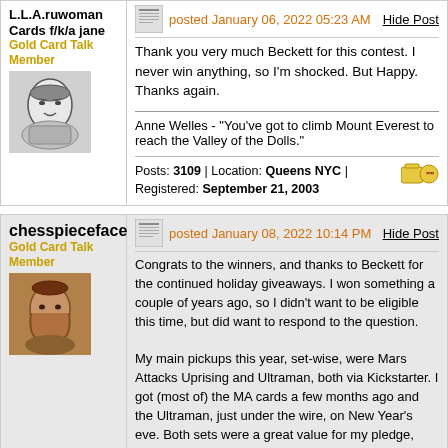L.L.A.ruwoman Cards f/k/a jane
Gold Card Talk Member
[Figure (photo): Avatar of user L.L.A.ruwoman Cards f/k/a jane - black and white sketch portrait of a woman]
posted January 06, 2022 05:23 AM
Hide Post
Thank you very much Beckett for this contest. I never win anything, so I'm shocked. But Happy. Thanks again.
Anne Welles - "You've got to climb Mount Everest to reach the Valley of the Dolls."
Posts: 3109 | Location: Queens NYC | Registered: September 21, 2003
chesspieceface
Gold Card Talk Member
[Figure (photo): Avatar of user chesspieceface - portrait painting of a bearded man resembling Mark Twain]
posted January 08, 2022 10:14 PM
Hide Post
Congrats to the winners, and thanks to Beckett for the continued holiday giveaways. I won something a couple of years ago, so I didn't want to be eligible this time, but did want to respond to the question.
My main pickups this year, set-wise, were Mars Attacks Uprising and Ultraman, both via Kickstarter. I got (most of) the MA cards a few months ago and the Ultraman, just under the wire, on New Year's eve. Both sets were a great value for my pledge, and well worth the wait.
Beyond that, I picked up about 20 GoT autographs last month to keep my full set of 1 card from every signer current. I think I only